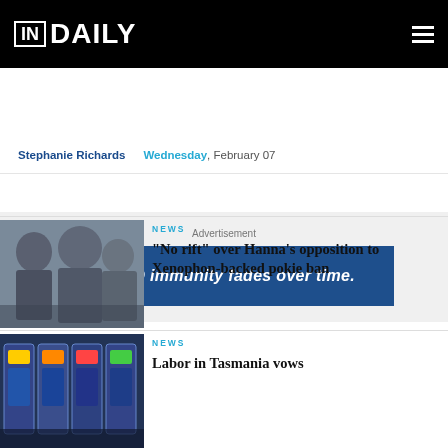IN DAILY
Stephanie Richards   Wednesday, February 07
[Figure (other): Advertisement banner: COVID immunity fades over time.]
[Figure (photo): Photo of men in suits, close-up, outdoors]
NEWS
"No rift" over Hanna's opposition to Xenophon-backed pokie ban
[Figure (photo): Photo of poker machines / pokies]
NEWS
Labor in Tasmania vows